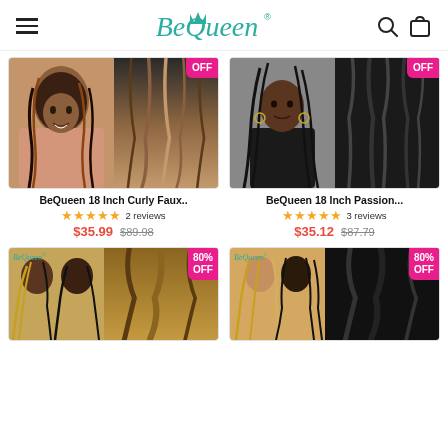BeQueen® — navigation header with hamburger menu, logo, search and cart icons
[Figure (screenshot): BeQueen 18 Inch Curly Faux product images — model wearing curly faux locs and product shot with OFF badge]
BeQueen 18 Inch Curly Faux..
★★★★★ 2 reviews
$35.99  $89.98
[Figure (screenshot): BeQueen 18 Inch Passion product images — model wearing passion twist braids and product shot with OFF badge]
BeQueen 18 Inch Passion...
★★★★★ 3 reviews
$35.12  $87.79
[Figure (screenshot): BeQueen braided wig product with 80% OFF badge — model and product images]
[Figure (screenshot): BeQueen braided wig product with 80% OFF badge — model and product images second item]